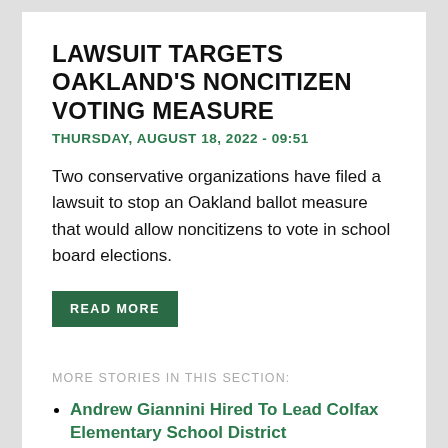LAWSUIT TARGETS OAKLAND'S NONCITIZEN VOTING MEASURE
THURSDAY, AUGUST 18, 2022 - 09:51
Two conservative organizations have filed a lawsuit to stop an Oakland ballot measure that would allow noncitizens to vote in school board elections.
READ MORE
MORE STORIES IN THIS SECTION:
Andrew Giannini Hired To Lead Colfax Elementary School District
School Demands Answers After Police Detain One Of Its Longtime